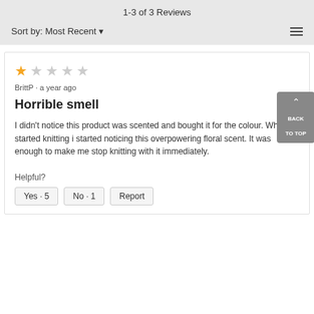1-3 of 3 Reviews
Sort by: Most Recent ▼
★☆☆☆☆
BrittP · a year ago
Horrible smell
I didn't notice this product was scented and bought it for the colour. When I started knitting i started noticing this overpowering floral scent. It was enough to make me stop knitting with it immediately.
Helpful?
Yes · 5   No · 1   Report